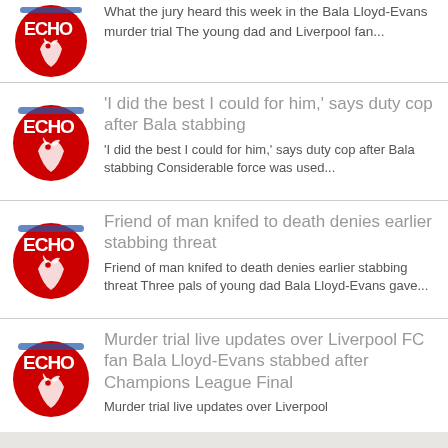What the jury heard this week in the Bala Lloyd-Evans murder trial The young dad and Liverpool fan...
'I did the best I could for him,' says duty cop after Bala stabbing | 'I did the best I could for him,' says duty cop after Bala stabbing Considerable force was used...
Friend of man knifed to death denies earlier stabbing threat | Friend of man knifed to death denies earlier stabbing threat Three pals of young dad Bala Lloyd-Evans gave...
Murder trial live updates over Liverpool FC fan Bala Lloyd-Evans stabbed after Champions League Final | Murder trial live updates over Liverpool